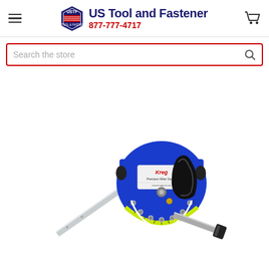US Tool and Fastener 877-777-4717
Search the store
[Figure (photo): Kreg precision miter gauge tool — blue metal body with protractor arc scale in yellow/green, black ergonomic handle, long silver aluminum bar extending to the upper left, and a blade/fence attachment at the bottom right. The Kreg logo and product label are visible on the blue body.]